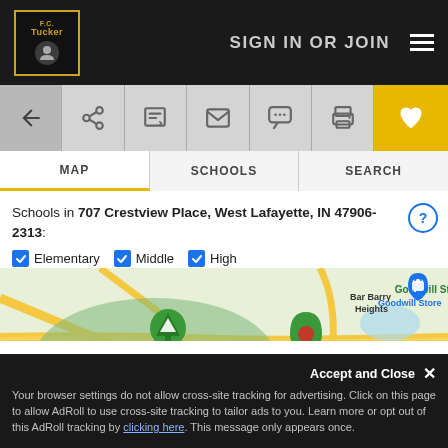F.C. Tucker — SIGN IN OR JOIN
[Figure (screenshot): Toolbar with back arrow, share, edit, email, chat, print, and favorite (heart, yellow) icons]
MAP | SCHOOLS | SEARCH tabs
Schools in 707 Crestview Place, West Lafayette, IN 47906-2313:
☑ Elementary  ☑ Middle  ☑ High
[Figure (map): Google Maps view showing area around 707 Crestview Place, West Lafayette, IN. Landmarks visible include Celery Bog Nature Area, Bar Barry Heights, Goodwill Store, Birck Boilermaker Golf Complex, Happy Hollow Park, Ross-Ade Stadium. Green map pins marking school locations with red dots, and a blue pin.]
Accept and Close ✕
Your browser settings do not allow cross-site tracking for advertising. Click on this page to allow AdRoll to use cross-site tracking to tailor ads to you. Learn more or opt out of this AdRoll tracking by clicking here. This message only appears once.